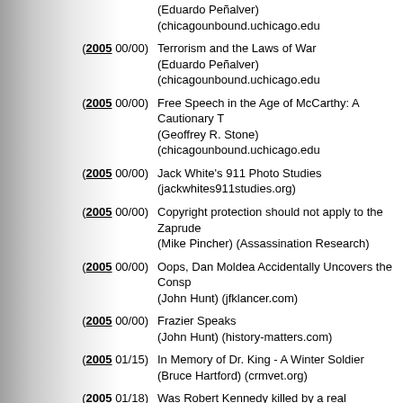(2005 00/00) Terrorism and the Laws of War (Eduardo Peñalver) (chicagounbound.uchicago.edu)
(2005 00/00) Free Speech in the Age of McCarthy: A Cautionary T (Geoffrey R. Stone) (chicagounbound.uchicago.edu)
(2005 00/00) Jack White's 911 Photo Studies (jackwhites911studies.org)
(2005 00/00) Copyright protection should not apply to the Zaprude (Mike Pincher) (Assassination Research)
(2005 00/00) Oops, Dan Moldea Accidentally Uncovers the Consp (John Hunt) (jfklancer.com)
(2005 00/00) Frazier Speaks (John Hunt) (history-matters.com)
(2005 01/15) In Memory of Dr. King - A Winter Soldier (Bruce Hartford) (crmvet.org)
(2005 01/18) Was Robert Kennedy killed by a real 'Manchurian ca (London Independent) (prisonplanet.com)
(2005 02/04) The CIA and Nazi War Criminals National Security Archive Posts Secret CIA History R (Tamara Feinstein ed.) (National Security Archive El)
(2005 02/21) "He Was a Crook" (Hunter S. Thompson) (counterpunch.org)